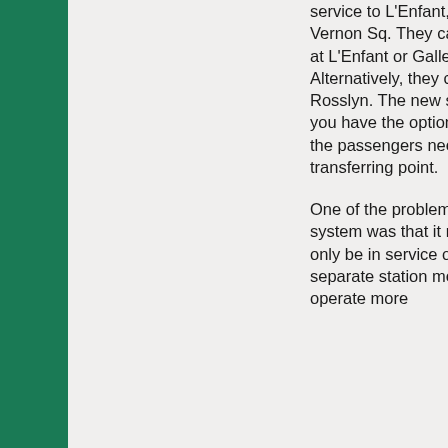service to L'Enfant, Archives, Gallery, or Mt Vernon Sq.  They can transfer to other lines at L'Enfant or Gallery for other stations.  Alternatively, they can transfer from Blue at Rosslyn.  The new station would mean that you have the option of keeping the trains that the passengers need very frequent at every transferring point.
One of the problems with the rush=plus system was that it meant that blue line would only be in service once every 12 minutes.  A separate station means that this leg can operate more